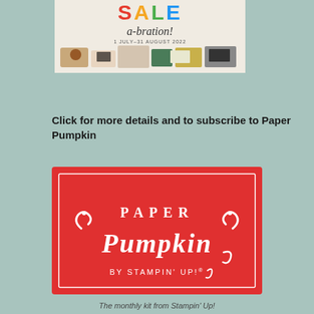[Figure (illustration): Sale-a-bration banner image showing crafting products, 1 July–31 August 2022]
Click for more details and to subscribe to Paper Pumpkin
[Figure (logo): Paper Pumpkin by Stampin' Up! logo on red background with white decorative text and border]
The monthly kit from Stampin' Up!